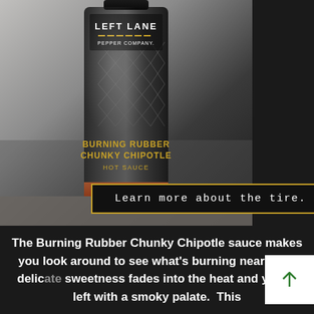[Figure (photo): Close-up photo of 'Left Lane Pepper Company' hot sauce bottle labeled 'Burning Rubber Chunky Chipotle Hot Sauce' with a diamond-pattern black label and amber-colored sauce visible at the bottom, placed on a gravelly surface with a dark background on the right.]
Learn more about the tire. ›
The Burning Rubber Chunky Chipotle sauce makes you look around to see what's burning nearby.  A delicate sweetness fades into the heat and you're left with a smoky palate.  This